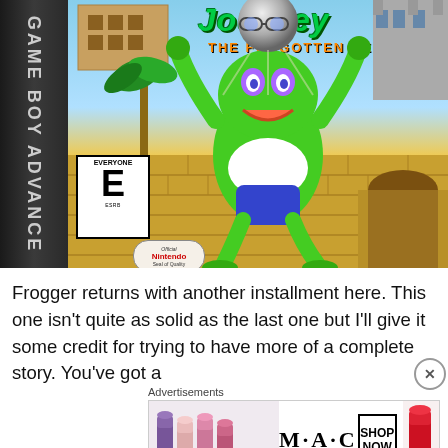[Figure (photo): Game Boy Advance cartridge box for 'Frogger's Journey: The Forgotten Relic'. Shows a green cartoon frog character holding a metallic ball with glasses, jumping over yellow stone blocks. Background has a village scene. ESRB E for Everyone rating in lower left corner. Official Nintendo Seal of Quality shown.]
Frogger returns with another installment here. This one isn't quite as solid as the last one but I'll give it some credit for trying to have more of a complete story. You've got a
[Figure (photo): MAC cosmetics advertisement showing colorful lipsticks (purple, pink, red) on the left, MAC logo text in center, a SHOP NOW button box, and a red lipstick on the right side.]